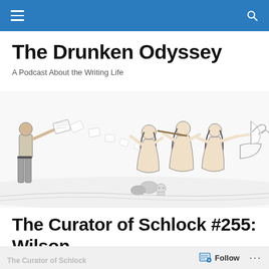The Drunken Odyssey — navigation bar with hamburger menu and search icon
The Drunken Odyssey
A Podcast About the Writing Life
[Figure (illustration): Illustrated banner showing a man in a shirt and slacks reading papers with pages flying away, and three seated women in classical style playing instruments or gesturing, with a ship visible in the background to the right. The style is black and white line art.]
The Curator of Schlock #255: Wilson
The Curator of Schlock   Follow   ...